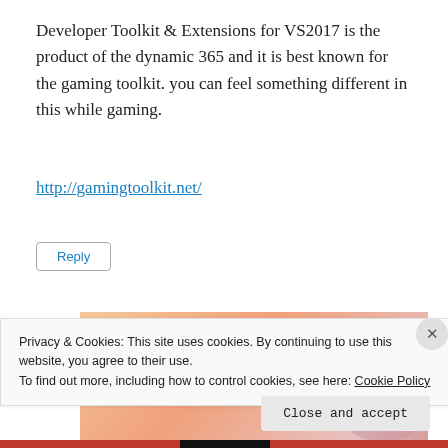Developer Toolkit & Extensions for VS2017 is the product of the dynamic 365 and it is best known for the gaming toolkit. you can feel something different in this while gaming.
http://gamingtoolkit.net/
Reply
[Figure (screenshot): WordPress advertisement banner with text 'WordPress in the back.' on an orange/pink gradient background]
Privacy & Cookies: This site uses cookies. By continuing to use this website, you agree to their use.
To find out more, including how to control cookies, see here: Cookie Policy
Close and accept